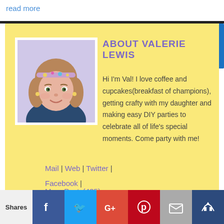read more
[Figure (photo): Profile photo of Valerie Lewis, a woman with wavy hair and a glittery headband]
ABOUT VALERIE LEWIS
Hi I'm Val! I love coffee and cupcakes(breakfast of champions), getting crafty with my daughter and making easy DIY parties to celebrate all of life's special moments. Come party with me!
Mail | Web | Twitter | Facebook |
More Posts(435)
Shares  [Facebook] [Twitter] [Google+] [Pinterest] [Mail] [Crown]